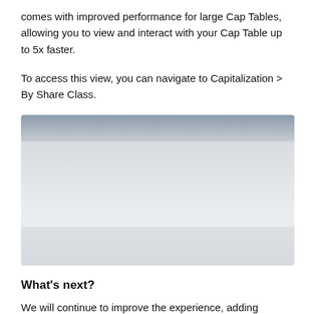comes with improved performance for large Cap Tables, allowing you to view and interact with your Cap Table up to 5x faster.
To access this view, you can navigate to Capitalization > By Share Class.
[Figure (screenshot): A screenshot of the Cap Table by Share Class view, showing a blurred/faded UI with a dark header gradient and light gray content area below.]
What's next?
We will continue to improve the experience, adding